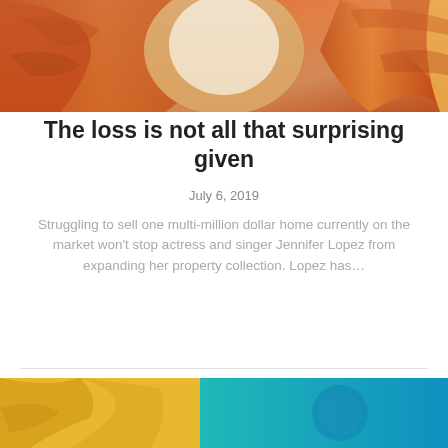[Figure (photo): Abstract orange/red canyon rock formations with warm light illuminating the curved stone surfaces]
The loss is not all that surprising given
July 6, 2019
Struggling to sell one multi-million dollar home currently on the market won't stop actress and singer Jennifer Lopez from expanding her property collection. Lopez has…
[Figure (photo): Partial view of a colorful scene with teal and golden/yellow colors visible at the bottom of the page]